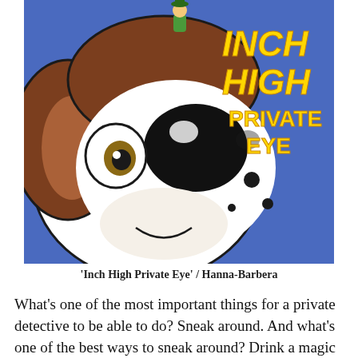[Figure (illustration): Cartoon illustration for 'Inch High Private Eye' by Hanna-Barbera. Shows a large brown and white cartoon dog with a big black nose, with a tiny character on top of its head. The background is blue. Yellow stylized text reads 'INCH HIGH PRIVATE EYE' on the right side.]
'Inch High Private Eye' / Hanna-Barbera
What's one of the most important things for a private detective to be able to do? Sneak around. And what's one of the best ways to sneak around? Drink a magic potion that shrinks you down to one inch tall of course! The cartoon Inch High, Private Eye followed the adventures of a detective who does just that. Modeled after Maxwell Smart from the hit TV